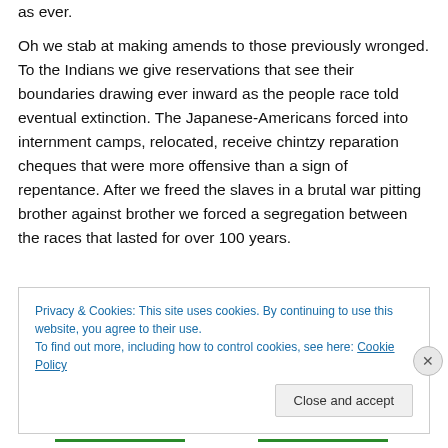as ever.
Oh we stab at making amends to those previously wronged. To the Indians we give reservations that see their boundaries drawing ever inward as the people race told eventual extinction. The Japanese-Americans forced into internment camps, relocated, receive chintzy reparation cheques that were more offensive than a sign of repentance. After we freed the slaves in a brutal war pitting brother against brother we forced a segregation between the races that lasted for over 100 years.
Privacy & Cookies: This site uses cookies. By continuing to use this website, you agree to their use.
To find out more, including how to control cookies, see here: Cookie Policy